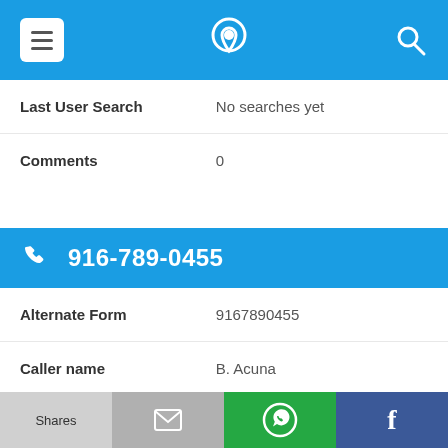[Figure (screenshot): Top navigation bar with menu icon, phone/location logo, and search icon on blue background]
| Last User Search | No searches yet |
| Comments | 0 |
916-789-0455
| Alternate Form | 9167890455 |
| Caller name | B. Acuna |
| Last User Search | No searches yet |
| Comments | 0 |
Shares | [email] | [WhatsApp] | [Facebook]